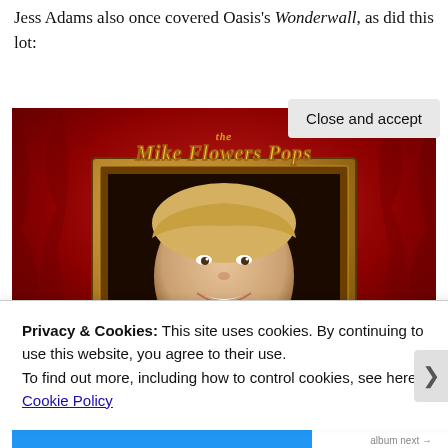Jess Adams also once covered Oasis's Wonderwall, as did this lot:
[Figure (photo): Album cover or promotional image for 'the Mike Flowers Pops' — a smiling man with a bowl cut framed in a golden ornate picture frame, against a red draped fabric background. The band name 'the Mike Flowers Pops' is written in a retro orange bubble-letter style at the top.]
Privacy & Cookies: This site uses cookies. By continuing to use this website, you agree to their use.
To find out more, including how to control cookies, see here: Cookie Policy
Close and accept